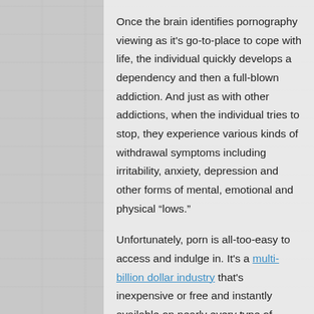Once the brain identifies pornography viewing as it's go-to-place to cope with life, the individual quickly develops a dependency and then a full-blown addiction. And just as with other addictions, when the individual tries to stop, they experience various kinds of withdrawal symptoms including irritability, anxiety, depression and other forms of mental, emotional and physical “lows.”
Unfortunately, porn is all-too-easy to access and indulge in. It’s a multi-billion dollar industry that’s inexpensive or free and instantly available on nearly every type of medial. However, contrary to previous reports and so-called research, Utah does NOT have higher rates of pornography consumption than the rest of the U.S. However, we here in Utah do care a great deal about engaging in behaviors that are not in harmony with our highest and truest selves. Before an